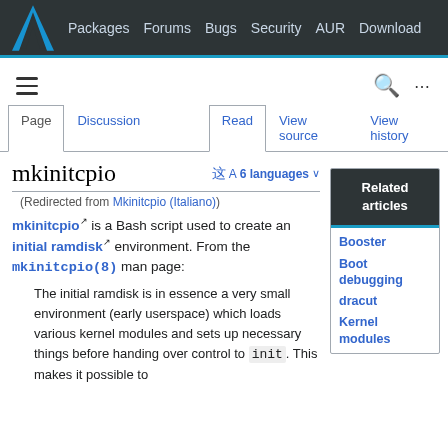Packages Forums Bugs Security AUR Download
Page | Discussion | Read | View source | View history
mkinitcpio
(Redirected from Mkinitcpio (Italiano))
mkinitcpio is a Bash script used to create an initial ramdisk environment. From the mkinitcpio(8) man page:
The initial ramdisk is in essence a very small environment (early userspace) which loads various kernel modules and sets up necessary things before handing over control to init. This makes it possible to
Related articles
Booster
Boot debugging
dracut
Kernel modules